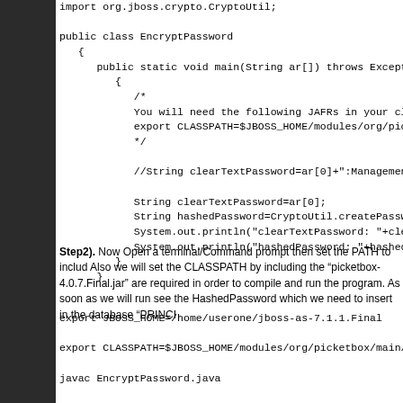import org.jboss.crypto.CryptoUtil;

public class EncryptPassword
   {
      public static void main(String ar[]) throws Exceptio
         {
            /*
            You will need the following JAFRs in your classp
            export CLASSPATH=$JBOSS_HOME/modules/org/picketbo
            */

            //String clearTextPassword=ar[0]+":ManagementRea

            String clearTextPassword=ar[0];
            String hashedPassword=CryptoUtil.createPasswordHa
            System.out.println("clearTextPassword: "+clearTex
            System.out.println("hashedPassword: "+hashedPassw
         }
      }
Step2). Now Open a terminal/Command prompt then set the PATH to includ Also we will set the CLASSPATH by including the "picketbox-4.0.7.Final.jar" are required in order to compile and run the program. As soon as we will run see the HashedPassword which we need to insert in the database "PRINCI
export JBOSS_HOME=/home/userone/jboss-as-7.1.1.Final

export CLASSPATH=$JBOSS_HOME/modules/org/picketbox/main/

javac EncryptPassword.java

java EncryptPassword admin123